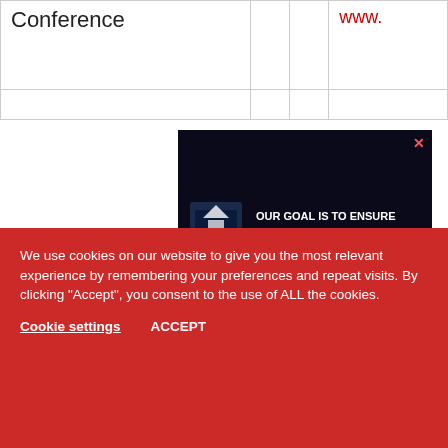| Conference |  |  | www. |
| --- | --- | --- | --- |
|  |  |  |  |
[Figure (illustration): Safe House advertisement: dark background with blue accent lines, logo on left, text reads 'OUR GOAL IS TO ENSURE SAFE & COMPLIANT PRODUCTS IN SOUTH AFRICA'. Close button (X) top right.]
[Figure (illustration): Instrotech advertisement: dark background, Instrotech logo with 'INSTRUMENTATION AND PROCESS CONTROL - A Combat Group Company', text reads 'DPM9000 | 9240 Programmable TX'. Close button (X) top right.]
We use cookies on our website to give you the most relevant experience by remembering your preferences and repeat visits. By clicking “Accept”, you consent to the use of ALL the cookies.
Cookie settings   ACCEPT